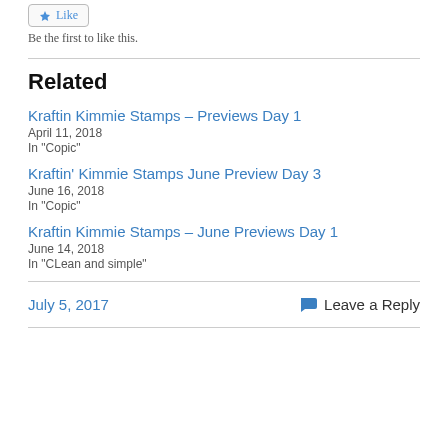[Figure (other): Like button with star icon]
Be the first to like this.
Related
Kraftin Kimmie Stamps – Previews Day 1
April 11, 2018
In "Copic"
Kraftin' Kimmie Stamps June Preview Day 3
June 16, 2018
In "Copic"
Kraftin Kimmie Stamps – June Previews Day 1
June 14, 2018
In "CLean and simple"
July 5, 2017
Leave a Reply